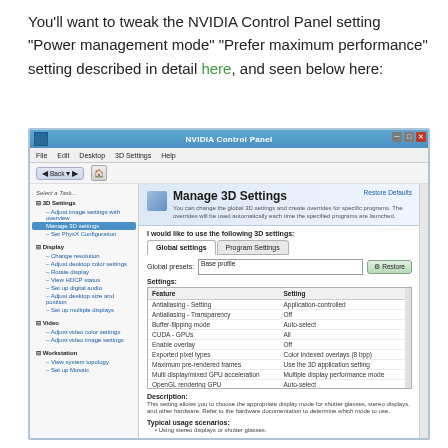You'll want to tweak the NVIDIA Control Panel setting "Power management mode" "Prefer maximum performance" setting described in detail here, and seen below here:
[Figure (screenshot): NVIDIA Control Panel screenshot showing the Manage 3D Settings page with Power management mode row highlighted and set to 'Prefer maximum performance']